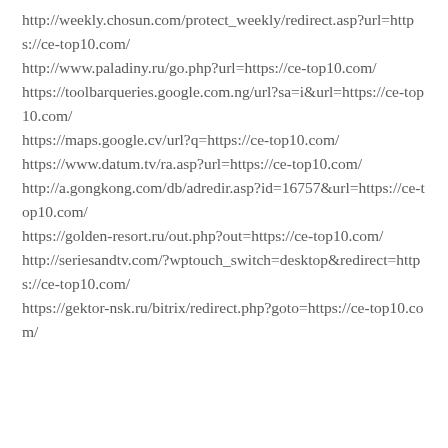http://weekly.chosun.com/protect_weekly/redirect.asp?url=https://ce-top10.com/
http://www.paladiny.ru/go.php?url=https://ce-top10.com/
https://toolbarqueries.google.com.ng/url?sa=i&url=https://ce-top10.com/
https://maps.google.cv/url?q=https://ce-top10.com/
https://www.datum.tv/ra.asp?url=https://ce-top10.com/
http://a.gongkong.com/db/adredir.asp?id=16757&url=https://ce-top10.com/
https://golden-resort.ru/out.php?out=https://ce-top10.com/
http://seriesandtv.com/?wptouch_switch=desktop&redirect=https://ce-top10.com/
https://gektor-nsk.ru/bitrix/redirect.php?goto=https://ce-top10.com/